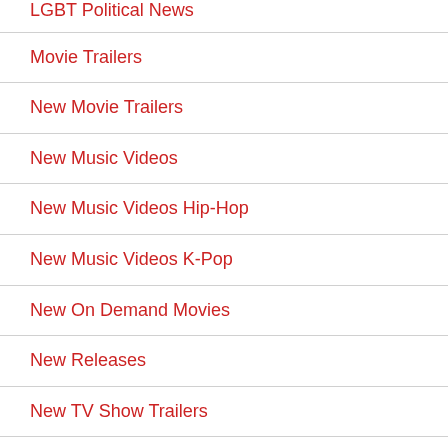LGBT Political News
Movie Trailers
New Movie Trailers
New Music Videos
New Music Videos Hip-Hop
New Music Videos K-Pop
New On Demand Movies
New Releases
New TV Show Trailers
Novelties